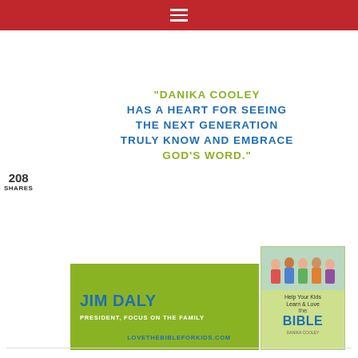208 SHARES
"DANIKA COOLEY HAS A HEART FOR SEEING THE NEXT GENERATION TRULY KNOW AND EMBRACE GOD'S WORD."
[Figure (infographic): Advertisement banner with green background showing Jim Daly, President of Focus on the Family endorsement, alongside a book cover for 'Help Your Kids Learn & Love the Bible' by Danika Cooley. Website: LOVETHEBIBLEFORKIDS.COM]
LOVETHEBIBLEFORKIDS.COM